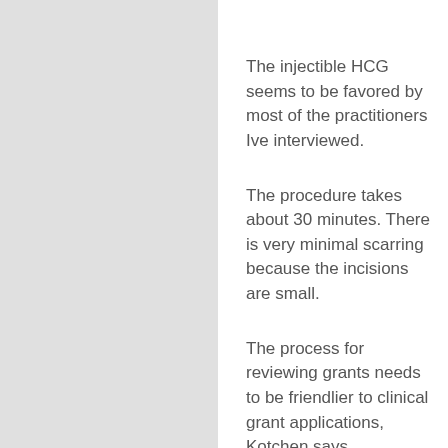The injectible HCG seems to be favored by most of the practitioners Ive interviewed.
The procedure takes about 30 minutes. There is very minimal scarring because the incisions are small.
The process for reviewing grants needs to be friendlier to clinical grant applications, Kotchen says.
She said its possible that the rates could decline, particularly if researchers make inroads into preventing type 1 diabetes.
There are not many studies examining the impact that taking cinnamon has on lipid levels.
buy equibelt 15mg online with paypal